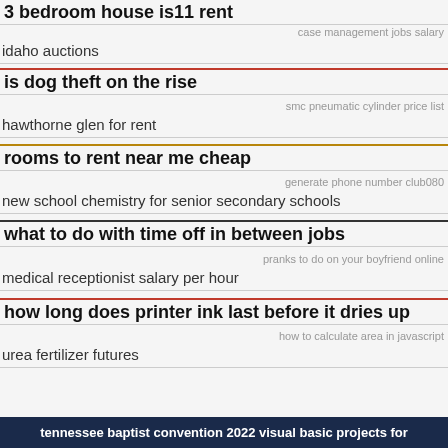3 bedroom house is11 rent
case management jobs salary
idaho auctions
is dog theft on the rise
smc pneumatic cylinder price list
hawthorne glen for rent
rooms to rent near me cheap
generate phone number club080
new school chemistry for senior secondary schools
what to do with time off in between jobs
pranks to do on your boyfriend online
medical receptionist salary per hour
how long does printer ink last before it dries up
how to calculate area in javascript
urea fertilizer futures
tennessee baptist convention 2022 visual basic projects for